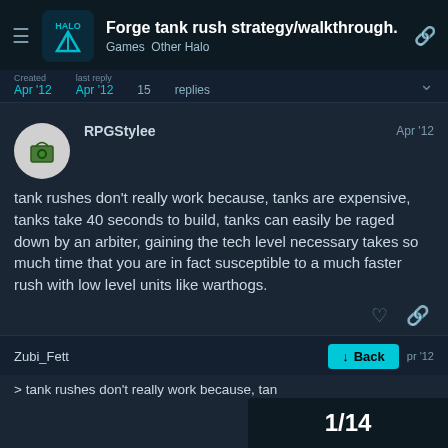Forge tank rush strategy/walkthrough. | Games Other Halo
Created Apr '12  Last Reply Apr '12  15 replies
RPGStylee  Apr '12

tank rushes don't really work because, tanks are expensive, tanks take 40 seconds to build, tanks can easily be raged down by an arbiter, gaining the tech level necessary takes so much time that you are in fact susceptible to a much faster rush with low level units like warthogs.
Zubi_Fett  Apr '12
> tank rushes don't really work because, tan
1/14